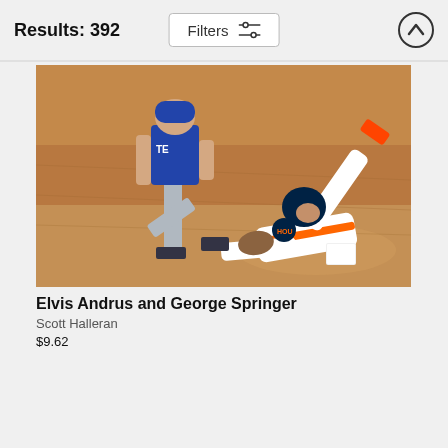Results: 392
[Figure (photo): Baseball action photo showing Elvis Andrus and George Springer on a dirt infield. One player in a Texas Rangers blue uniform is running, while another player in a Houston Astros white uniform is sliding on the ground with one leg raised high in the air.]
Elvis Andrus and George Springer
Scott Halleran
$9.62